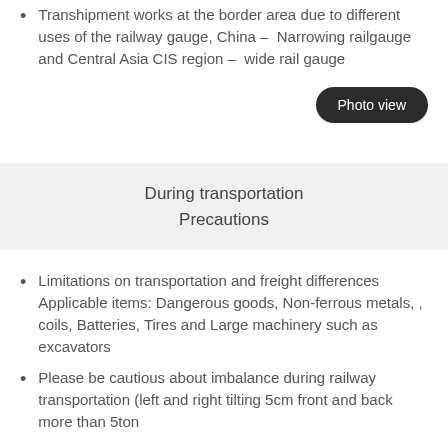Transhipment works at the border area due to different uses of the railway gauge, China – Narrowing railgauge and Central Asia CIS region – wide rail gauge
[Figure (other): Photo view button]
During transportation
Precautions
Limitations on transportation and freight differences Applicable items: Dangerous goods, Non-ferrous metals, , coils, Batteries, Tires and Large machinery such as excavators
Please be cautious about imbalance during railway transportation (left and right tilting 5cm front and back more than 5ton